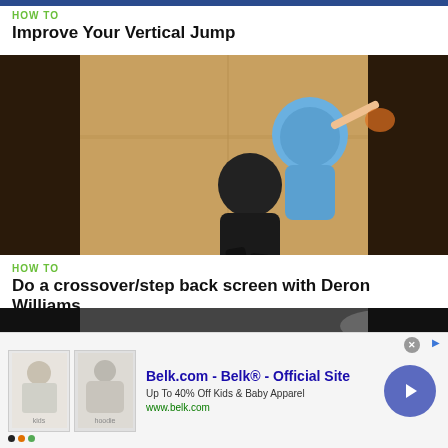HOW TO
Improve Your Vertical Jump
[Figure (photo): Two basketball players on a gym floor — one in a light blue jersey jumping, one in black — photographed from above]
HOW TO
Do a crossover/step back screen with Deron Williams
[Figure (photo): Partial view of another video thumbnail showing players on a dark background]
[Figure (other): Advertisement banner: Belk.com - Belk® - Official Site. Up To 40% Off Kids & Baby Apparel. www.belk.com. Shows two clothing item images and a navigation arrow button.]